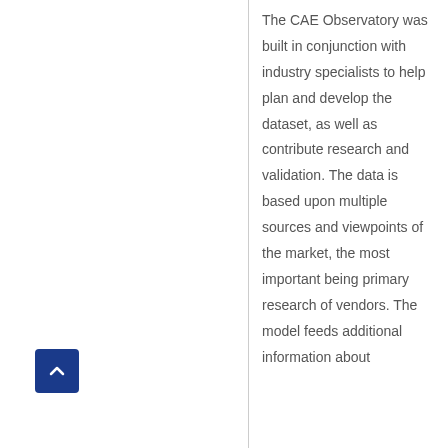The CAE Observatory was built in conjunction with industry specialists to help plan and develop the dataset, as well as contribute research and validation. The data is based upon multiple sources and viewpoints of the market, the most important being primary research of vendors. The model feeds additional information about
[Figure (other): A dark blue square button with a white upward-pointing chevron/arrow icon, used as a back-to-top navigation button.]